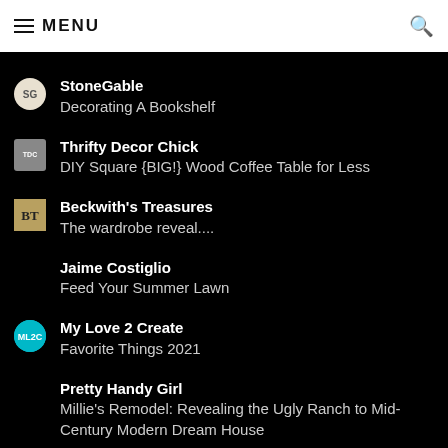MENU
StoneGable
Decorating A Bookshelf
Thrifty Decor Chick
DIY Square {BIG!} Wood Coffee Table for Less
Beckwith's Treasures
The wardrobe reveal....
Jaime Costiglio
Feed Your Summer Lawn
My Love 2 Create
Favorite Things 2021
Pretty Handy Girl
Millie's Remodel: Revealing the Ugly Ranch to Mid-Century Modern Dream House
Savvy Southern Style
Spring Tour in the Sun Room